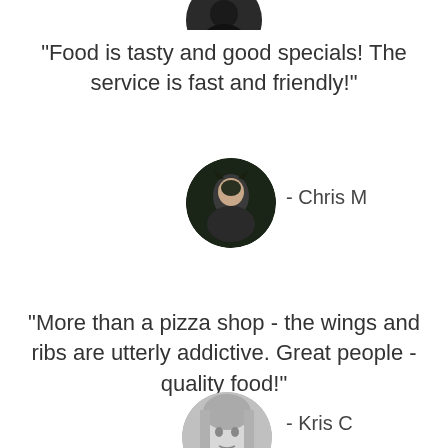[Figure (photo): Circular avatar photo cropped at top of page, partially visible]
"Food is tasty and good specials! The service is fast and friendly!"
[Figure (photo): Circular avatar photo of Chris M with dark background]
- Chris M
"More than a pizza shop - the wings and ribs are utterly addictive. Great people - quality food!"
[Figure (photo): Circular avatar photo of Kris C, grayscale, partially visible at bottom]
- Kris C